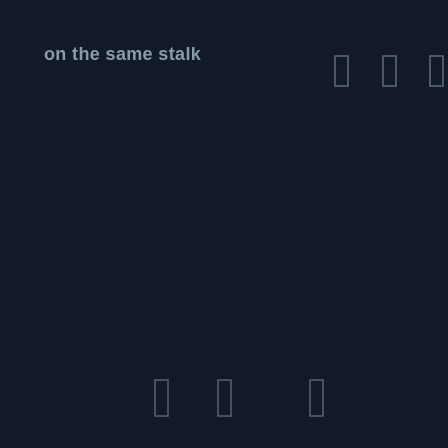on the same stalk
[Figure (other): Six small rectangular bracket/box symbols arranged in two rows — three in the upper right area and three along the bottom of the dark page, rendered as thin outlined rectangles in a muted blue-grey color against a very dark navy background.]